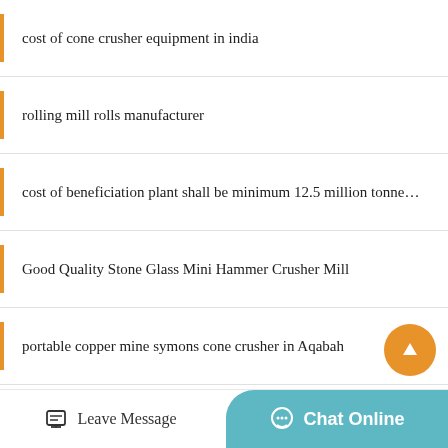cost of cone crusher equipment in india
rolling mill rolls manufacturer
cost of beneficiation plant shall be minimum 12.5 million tonne…
Good Quality Stone Glass Mini Hammer Crusher Mill
portable copper mine symons cone crusher in Aqabah
sai siddhi stone crusher
silica sand processing line supplier
finland jaw crusher
Leave Message
Chat Online